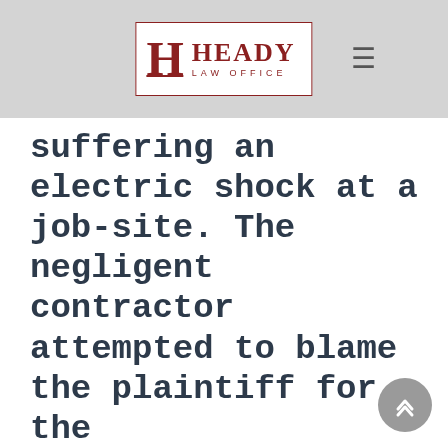HEADY LAW OFFICE
suffering an electric shock at a job-site. The negligent contractor attempted to blame the plaintiff for the